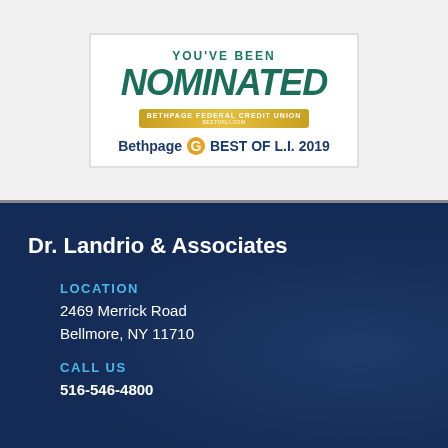[Figure (logo): Bethpage Federal Credit Union nomination badge reading YOU'VE BEEN NOMINATED - Bethpage Best of L.I. 2019]
Dr. Landrio & Associates
LOCATION
2469 Merrick Road
Bellmore, NY 11710
CALL US
516-546-4800